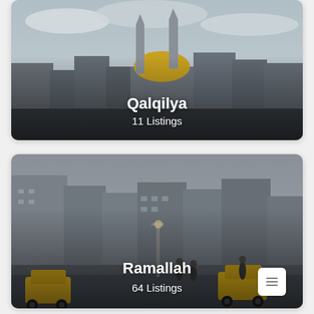[Figure (photo): Aerial/cityscape photo of Qalqilya showing a mosque with golden dome and minarets against a cloudy sky, with city buildings in the background. White text overlay reads 'Qalqilya' and '11 Listings'.]
[Figure (photo): Street-level photo of Ramallah showing a busy city intersection with yellow taxis, pedestrians, multi-story buildings lit at dusk. White text overlay reads 'Ramallah' and '64 Listings'.]